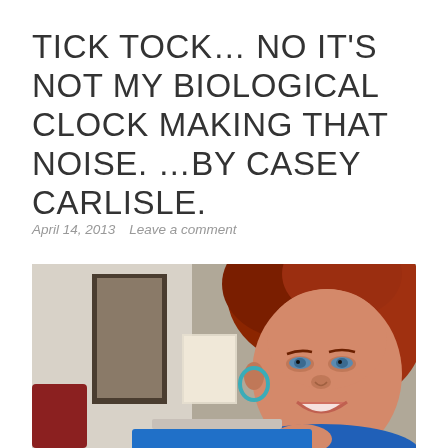TICK TOCK… NO IT'S NOT MY BIOLOGICAL CLOCK MAKING THAT NOISE. …BY CASEY CARLISLE.
April 14, 2013   Leave a comment
[Figure (photo): A smiling woman with red hair wearing a blue top and teal hoop earrings, photographed indoors with a blurred background showing a ceiling fan and room.]